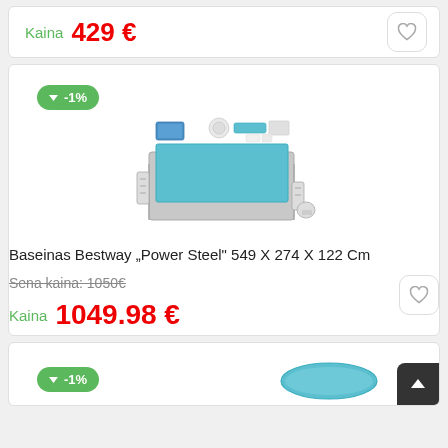Kaina  429 €
[Figure (photo): Bestway Power Steel rectangular above-ground swimming pool with accessories]
Baseinas Bestway „Power Steel" 549 X 274 X 122 Cm
Sena kaina: 1050€
Kaina  1049.98 €
[Figure (photo): Partial view of another pool product with -1% discount badge]